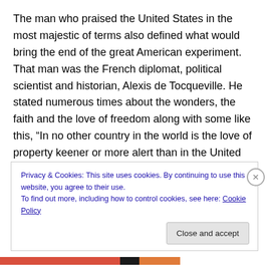The man who praised the United States in the most majestic of terms also defined what would bring the end of the great American experiment. That man was the French diplomat, political scientist and historian, Alexis de Tocqueville. He stated numerous times about the wonders, the faith and the love of freedom along with some like this, “In no other country in the world is the love of property keener or more alert than in the United States, and nowhere else does the majority display less inclination toward doctrines which in any way threaten the way
Privacy & Cookies: This site uses cookies. By continuing to use this website, you agree to their use.
To find out more, including how to control cookies, see here: Cookie Policy
Close and accept